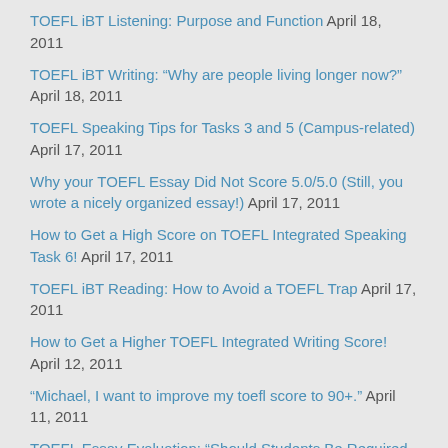TOEFL iBT Listening: Purpose and Function April 18, 2011
TOEFL iBT Writing: “Why are people living longer now?” April 18, 2011
TOEFL Speaking Tips for Tasks 3 and 5 (Campus-related) April 17, 2011
Why your TOEFL Essay Did Not Score 5.0/5.0 (Still, you wrote a nicely organized essay!) April 17, 2011
How to Get a High Score on TOEFL Integrated Speaking Task 6! April 17, 2011
TOEFL iBT Reading: How to Avoid a TOEFL Trap April 17, 2011
How to Get a Higher TOEFL Integrated Writing Score! April 12, 2011
“Michael, I want to improve my toefl score to 90+.” April 11, 2011
TOEFL Essay Evaluation: “Should Students Be Required to Attend Classes?” April 11, 2011